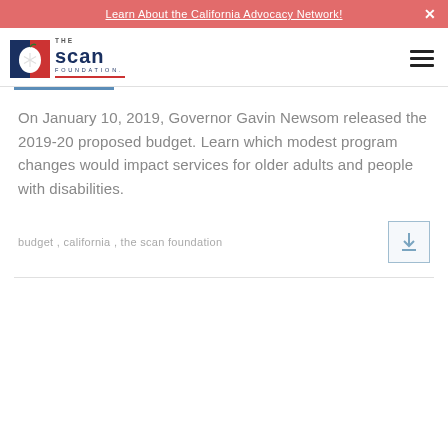Learn About the California Advocacy Network!
[Figure (logo): The SCAN Foundation logo — apple icon with snowflake/asterisk, text 'THE scan FOUNDATION']
On January 10, 2019, Governor Gavin Newsom released the 2019-20 proposed budget. Learn which modest program changes would impact services for older adults and people with disabilities.
budget , california , the scan foundation